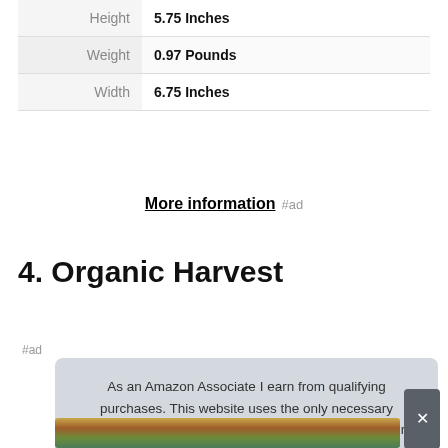| Height | 5.75 Inches |
| Weight | 0.97 Pounds |
| Width | 6.75 Inches |
More information #ad
4. Organic Harvest
#ad
As an Amazon Associate I earn from qualifying purchases. This website uses the only necessary cookies to ensure you get the best experience on our website. More information